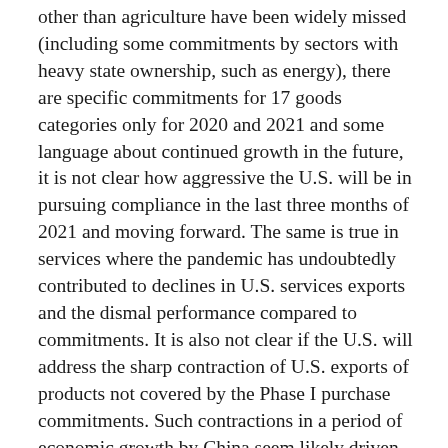other than agriculture have been widely missed (including some commitments by sectors with heavy state ownership, such as energy), there are specific commitments for 17 goods categories only for 2020 and 2021 and some language about continued growth in the future, it is not clear how aggressive the U.S. will be in pursuing compliance in the last three months of 2021 and moving forward. The same is true in services where the pandemic has undoubtedly contributed to declines in U.S. services exports and the dismal performance compared to commitments. It is also not clear if the U.S. will address the sharp contraction of U.S. exports of products not covered by the Phase I purchase commitments. Such contractions in a period of economic growth by China seem likely driven by Chinese action whether formal or informal to reduce U.S. exports regardless of China's overall growth.
The serious problems China's economic model and